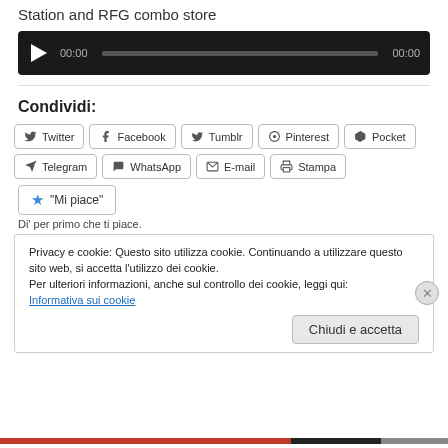Station and RFG combo store
[Figure (other): Audio player with play button, progress bar, and time display showing 00:00 / 00:00 on dark background]
Condividi:
Twitter  Facebook  Tumblr  Pinterest  Pocket  Telegram  WhatsApp  E-mail  Stampa
"Mi piace"
Di' per primo che ti piace.
Privacy e cookie: Questo sito utilizza cookie. Continuando a utilizzare questo sito web, si accetta l'utilizzo dei cookie. Per ulteriori informazioni, anche sul controllo dei cookie, leggi qui: Informativa sui cookie
Chiudi e accetta